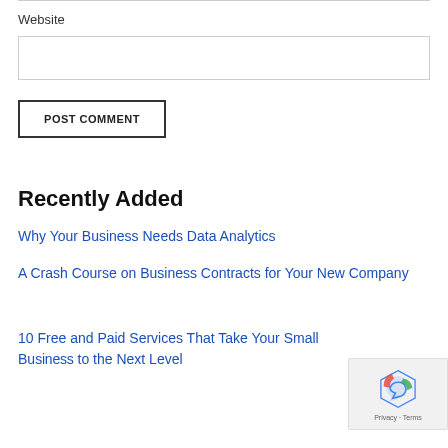Website
[input field]
POST COMMENT
Recently Added
Why Your Business Needs Data Analytics
A Crash Course on Business Contracts for Your New Company
10 Free and Paid Services That Take Your Small Business to the Next Level